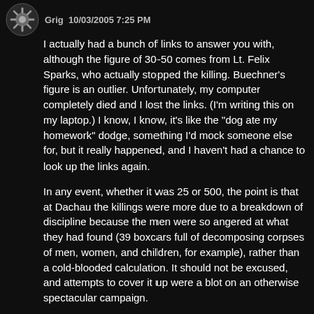Grig 10/03/2005 7:25 PM
I actually had a bunch of links to answer you with, although the figure of 30-50 comes from Lt. Felix Sparks, who actually stopped the killing. Buechner's figure is an outlier. Unfortunately, my computer completely died and I lost the links. (I'm writing this on my laptop.) I know, I know, it's like the "dog ate my homework" dodge, something I'd mock someone else for, but it really happened, and I haven't had a chance to look up the links again.
In any event, whether it was 25 or 500, the point is that at Dachau the killings were more due to a breakdown of discipline because the men were so angered at what they had found (39 boxcars full of decomposing corpses of men, women, and children, for example), rather than a cold-blooded calculation. It should not be excused, and attempts to cover it up were a blot on an otherwise spectacular campaign.
But the main point is that Bill O'Reilly is so ignorant of history that he unknowingly